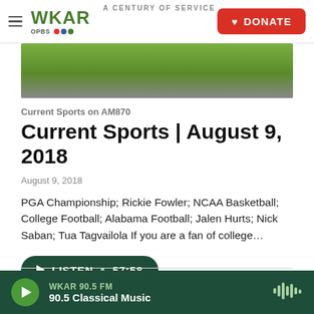WKAR A CENTURY OF SERVICE | DONATE
[Figure (photo): Sports action photo showing football players on a grass field]
Current Sports on AM870
Current Sports | August 9, 2018
August 9, 2018
PGA Championship; Rickie Fowler; NCAA Basketball; College Football; Alabama Football; Jalen Hurts; Nick Saban; Tua Tagvailola If you are a fan of college…
LISTEN • 57:58
[Figure (photo): Partial thumbnail of next article showing a person's face]
WKAR 90.5 FM
90.5 Classical Music